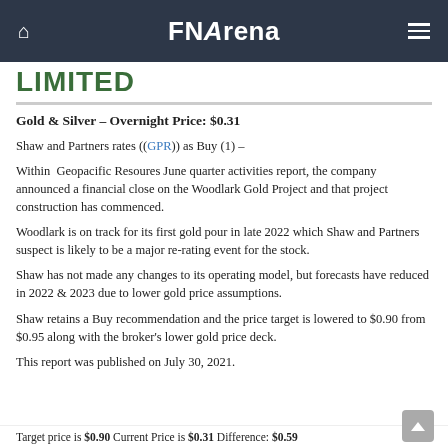FNArena
LIMITED
Gold & Silver – Overnight Price: $0.31
Shaw and Partners rates ((GPR)) as Buy (1) –
Within Geopacific Resoures June quarter activities report, the company announced a financial close on the Woodlark Gold Project and that project construction has commenced.
Woodlark is on track for its first gold pour in late 2022 which Shaw and Partners suspect is likely to be a major re-rating event for the stock.
Shaw has not made any changes to its operating model, but forecasts have reduced in 2022 & 2023 due to lower gold price assumptions.
Shaw retains a Buy recommendation and the price target is lowered to $0.90 from $0.95 along with the broker's lower gold price deck.
This report was published on July 30, 2021.
Target price is $0.90 Current Price is $0.31 Difference: $0.59